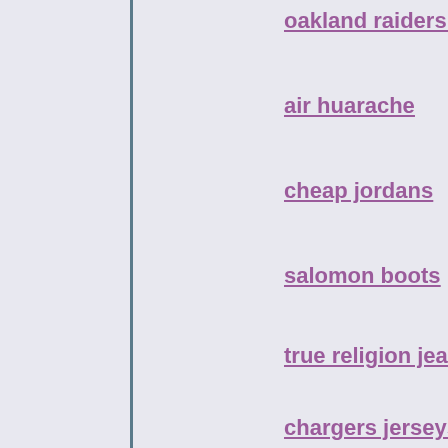oakland raiders jerseys
air huarache
cheap jordans
salomon boots
true religion jeans
chargers jerseys